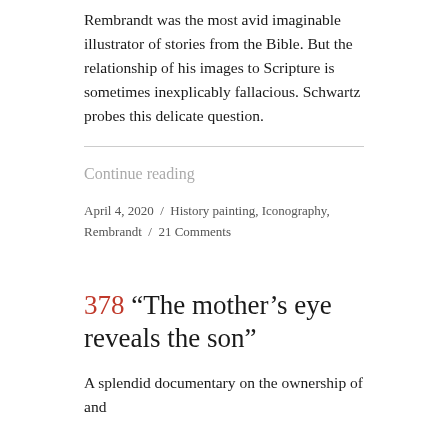Rembrandt was the most avid imaginable illustrator of stories from the Bible. But the relationship of his images to Scripture is sometimes inexplicably fallacious. Schwartz probes this delicate question.
Continue reading
April 4, 2020 / History painting, Iconography, Rembrandt / 21 Comments
378 “The mother’s eye reveals the son”
A splendid documentary on the ownership of and